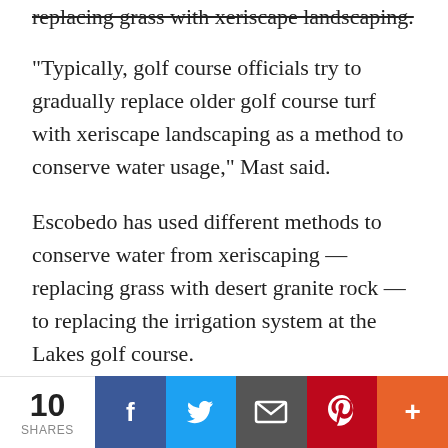replacing grass with xeriscape landscaping.
“Typically, golf course officials try to gradually replace older golf course turf with xeriscape landscaping as a method to conserve water usage,” Mast said.
Escobedo has used different methods to conserve water from xeriscaping — replacing grass with desert granite rock — to replacing the irrigation system at the Lakes golf course.
The goal is to replace 4 to 5 acres of turf per year. Since 2015, he said officials have removed 28 acres of turf.
As the Arizona Department of Water Resources transitions into its final phase, Escobedo said state water officials could eventually force golf courses to
10 SHARES | Facebook | Twitter | Email | Pinterest | More